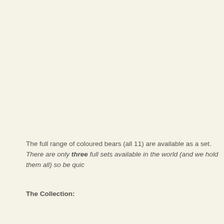The full range of coloured bears (all 11) are available as a set. There are only three full sets available in the world (and we hold them all) so be quick!
The Collection: